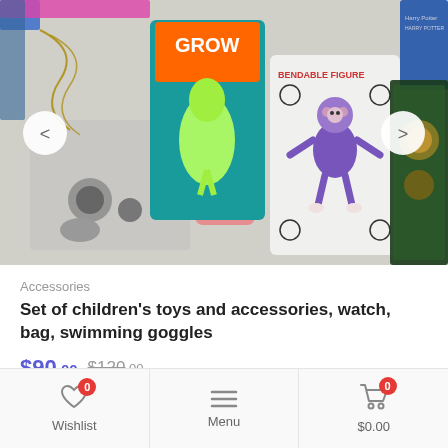[Figure (photo): Product photo showing a collection of children's toys and accessories including a 'Grow' dinosaur toy, bendable figure (sloth/bear in purple), keychains, a pink watch/bracelet, Harry Potter box, and other items laid out on a white surface. Navigation arrows visible on left and right sides.]
Accessories
Set of children's toys and accessories, watch, bag, swimming goggles
$90.00 $120.00
Wishlist 0  Menu  $0.00 0